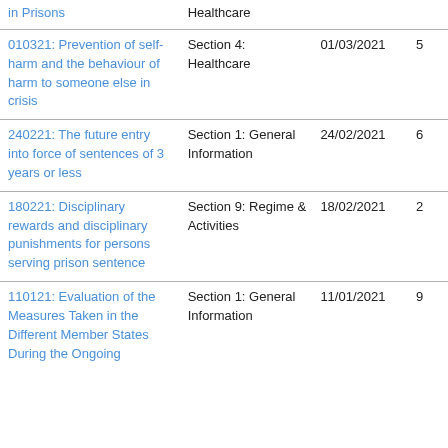| Title | Section | Date |  |
| --- | --- | --- | --- |
| in Prisons | Healthcare |  |  |
| 010321: Prevention of self-harm and the behaviour of harm to someone else in crisis | Section 4: Healthcare | 01/03/2021 | 5 |
| 240221: The future entry into force of sentences of 3 years or less | Section 1: General Information | 24/02/2021 | 6 |
| 180221: Disciplinary rewards and disciplinary punishments for persons serving prison sentence | Section 9: Regime & Activities | 18/02/2021 | 2 |
| 110121: Evaluation of the Measures Taken in the Different Member States During the Ongoing | Section 1: General Information | 11/01/2021 | 9 |